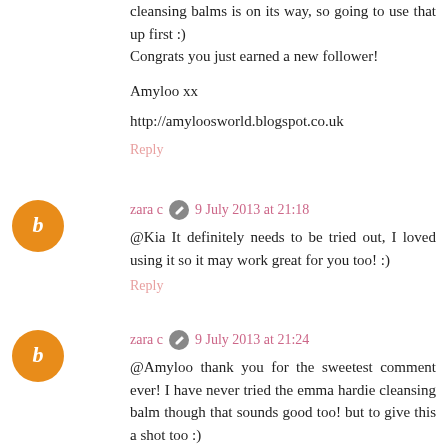cleansing balms is on its way, so going to use that up first :) Congrats you just earned a new follower!
Amyloo xx
http://amyloosworld.blogspot.co.uk
Reply
zara c  9 July 2013 at 21:18
@Kia It definitely needs to be tried out, I loved using it so it may work great for you too! :)
Reply
zara c  9 July 2013 at 21:24
@Amyloo thank you for the sweetest comment ever! I have never tried the emma hardie cleansing balm though that sounds good too! but to give this a shot too :)
Reply